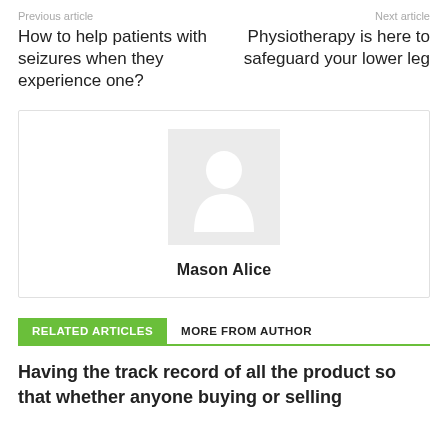Previous article
Next article
How to help patients with seizures when they experience one?
Physiotherapy is here to safeguard your lower leg
[Figure (illustration): Generic user avatar placeholder image (grey background with white person silhouette icon)]
Mason Alice
RELATED ARTICLES
MORE FROM AUTHOR
Having the track record of all the product so that whether anyone buying or selling